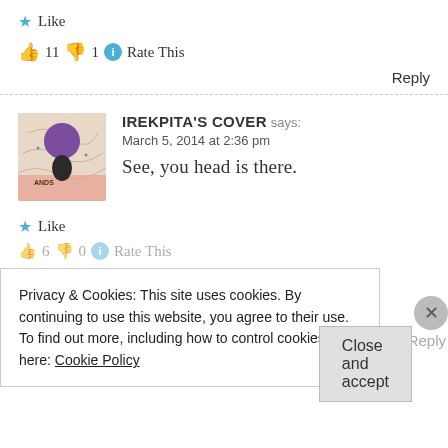★ Like
👍 11 👎 1 ℹ Rate This
Reply
[Figure (illustration): Avatar image for IREKPITA'S COVER showing a stylized figure with purple afro hair against a decorative background with text 'ANDS']
IREKPITA'S COVER says: March 5, 2014 at 2:36 pm
See, you head is there.
★ Like
👍 6 👎 0 ℹ Rate This
Reply
Privacy & Cookies: This site uses cookies. By continuing to use this website, you agree to their use.
To find out more, including how to control cookies, see here: Cookie Policy
Close and accept